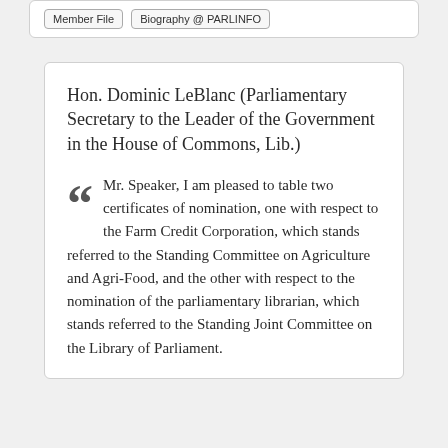Member File | Biography @ PARLINFO
Hon. Dominic LeBlanc (Parliamentary Secretary to the Leader of the Government in the House of Commons, Lib.)
Mr. Speaker, I am pleased to table two certificates of nomination, one with respect to the Farm Credit Corporation, which stands referred to the Standing Committee on Agriculture and Agri-Food, and the other with respect to the nomination of the parliamentary librarian, which stands referred to the Standing Joint Committee on the Library of Parliament.